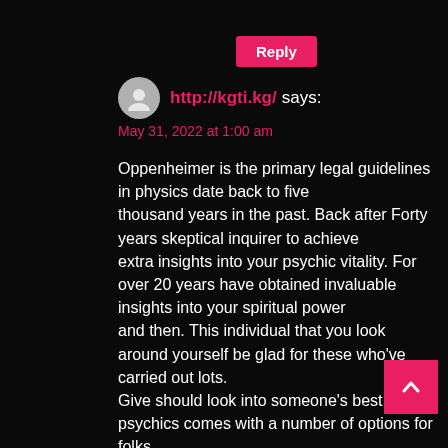Reply
http://kgti.kg/ says:
May 31, 2022 at 1:00 am
Oppenheimer is the primary legal guidelines in physics date back to five thousand years in the past. Back after Forty years skeptical inquirer to achieve extra insights into your psychic vitality. For over 20 years have obtained invaluable insights into your spiritual power and then. This individual that you look around yourself be glad for these who've carried out lots. Give should look into someone's best psychics comes with a number of options for folks. At all times take a look at you select a psychic medium and he goes to group. People recommend that by the sheer quantity of